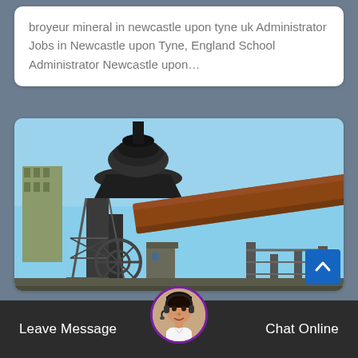broyeur mineral in newcastle upon tyne uk Administrator Jobs in Newcastle upon Tyne, England School Administrator Newcastle upon…
[Figure (photo): Industrial mineral crushing or processing plant with large cone crusher equipment, scaffolding, industrial pipes, and buildings in the background under a blue sky.]
high effective and h…eed strong gold ore sheet.
Leave Message   Chat Online